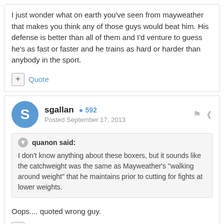I just wonder what on earth you've seen from mayweather that makes you think any of those guys would beat him. His defense is better than all of them and I'd venture to guess he's as fast or faster and he trains as hard or harder than anybody in the sport.
+ Quote
sgallan  +592
Posted September 17, 2013
quanon said:
I don't know anything about these boxers, but it sounds like the catchweight was the same as Mayweather's "walking around weight" that he maintains prior to cutting for fights at lower weights.
Oops.... quoted wrong guy.
+ Quote